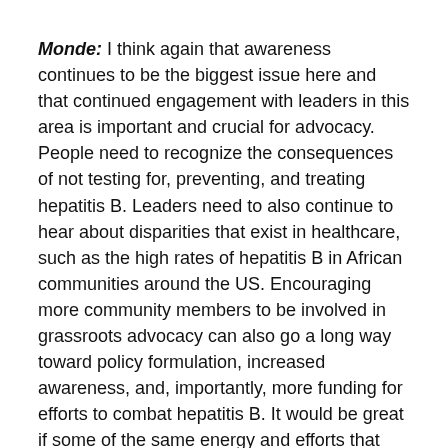Monde: I think again that awareness continues to be the biggest issue here and that continued engagement with leaders in this area is important and crucial for advocacy. People need to recognize the consequences of not testing for, preventing, and treating hepatitis B. Leaders need to also continue to hear about disparities that exist in healthcare, such as the high rates of hepatitis B in African communities around the US. Encouraging more community members to be involved in grassroots advocacy can also go a long way toward policy formulation, increased awareness, and, importantly, more funding for efforts to combat hepatitis B. It would be great if some of the same energy and efforts that have been used in the HIV space over the past several decades could be used in the hep B space as well.
Do you see this issue as being connected to other concerns facing African immigrant communities?